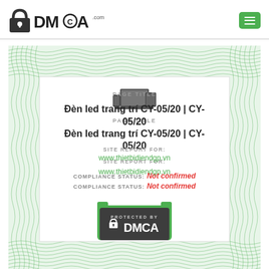[Figure (logo): DMCA.com logo with lock icon and text]
[Figure (screenshot): DMCA certificate with guilloche border showing page title, site report, compliance status and protected by badge]
PAGE TITLE
Đèn led trang trí CY-05/20 | CY-05/20
SITE REPORT FOR:
www.thietbidiendgp.vn
COMPLIANCE STATUS: Not confirmed
[Figure (logo): PROTECTED BY DMCA badge in dark rounded rectangle with green border]